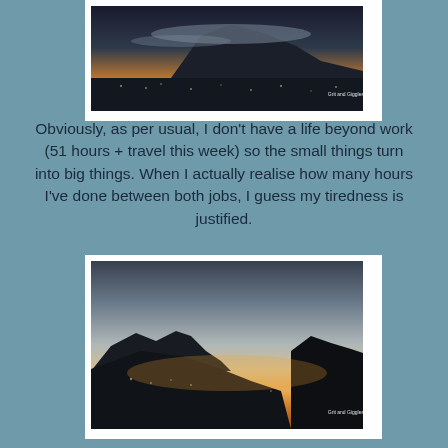[Figure (photo): Landscape photo of a city at dusk/dawn with mountains silhouetted against an orange-yellow sky, with a watermark reading 'Grit and Giggles']
Obviously, as per usual, I don't have a life beyond work (51 hours + travel this week) so the small things turn into big things. When I actually realise how many hours I've done between both jobs, I guess my tiredness is justified.
[Figure (photo): Landscape photo of mountains silhouetted against a twilight sky with orange-pink horizon glow, with a watermark reading 'Grit and Giggles']